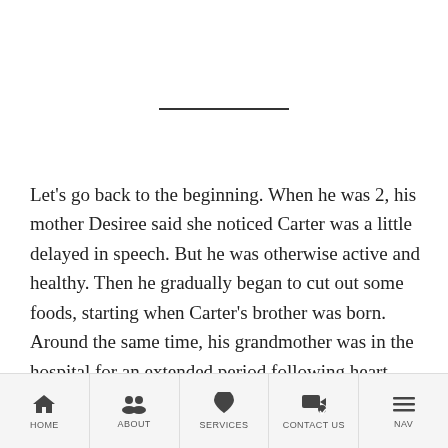Let's go back to the beginning. When he was 2, his mother Desiree said she noticed Carter was a little delayed in speech. But he was otherwise active and healthy. Then he gradually began to cut out some foods, starting when Carter's brother was born. Around the same time, his grandmother was in the hospital for an extended period following heart surgery.
HOME | ABOUT | SERVICES | CONTACT US | NAV